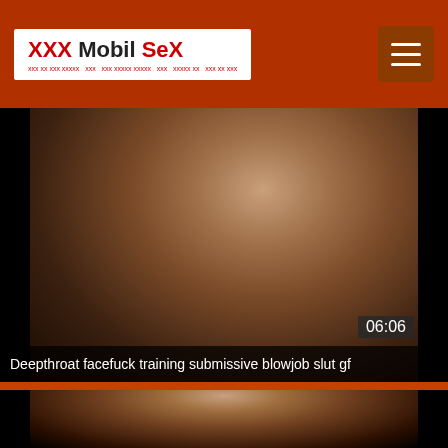XXX Mobil SeX
[Figure (screenshot): Video thumbnail showing adult content with duration badge 06:06]
Deepthroat facefuck training submissive blowjob slut gf
[Figure (screenshot): Second video thumbnail showing adult content]